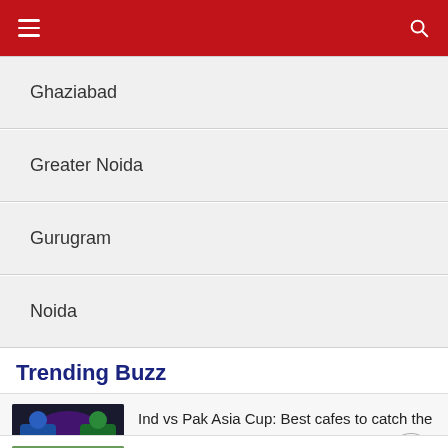Navigation header with menu and search
Ghaziabad
Greater Noida
Gurugram
Noida
Trending Buzz
Ind vs Pak Asia Cup: Best cafes to catch the big match
Most fashionable leading ladies in K-